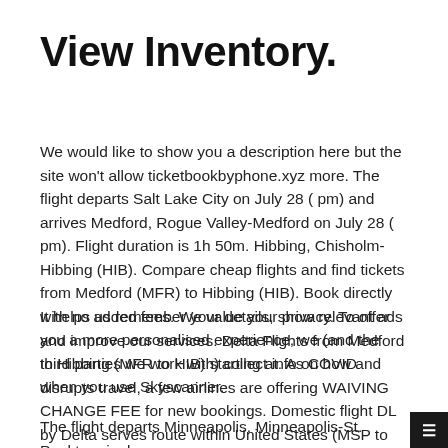View Inventory.
We would like to show you a description here but the site won't allow ticketbookbyphone.xyz more. The flight departs Salt Lake City on July 28 ( pm) and arrives Medford, Rogue Valley-Medford on July 28 ( pm). Flight duration is 1h 50m. Hibbing, Chisholm-Hibbing (HIB). Compare cheap flights and find tickets from Medford (MFR) to Hibbing (HIB). Book directly with no added fees. We value your privacy. To offer you a more personalised experience, we (and the third parties we work with) collect info on how and when you use Skyscanner.
It helps us remember your details, show relevant ads and improve our services. Delta Flights from Medford to Hibbing (MFR to HIB) starting at. As COVID disrupts travel, a few airlines are offering WAIVING CHANGE FEE for new bookings. Domestic flight DL by Delta serves route within United States (MSP to HIB).
The flight departs Minneapolis, Minneapolis-St. Paul terminal